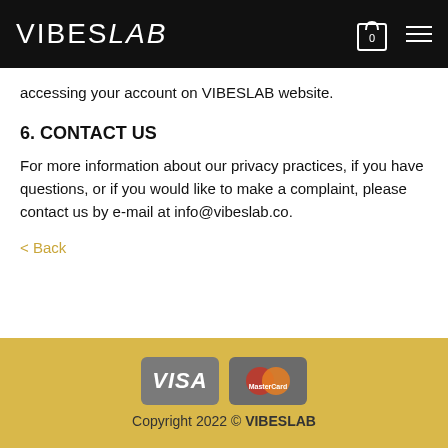VIBESLAB
accessing your account on VIBESLAB website.
6. CONTACT US
For more information about our privacy practices, if you have questions, or if you would like to make a complaint, please contact us by e-mail at info@vibeslab.co.
< Back
Copyright 2022 © VIBESLAB